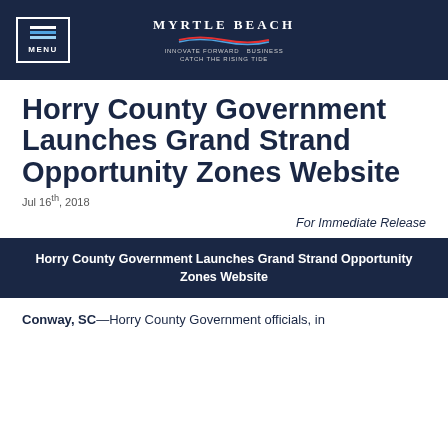MENU | Myrtle Beach
Horry County Government Launches Grand Strand Opportunity Zones Website
Jul 16th, 2018
For Immediate Release
Horry County Government Launches Grand Strand Opportunity Zones Website
Conway, SC—Horry County Government officials, in